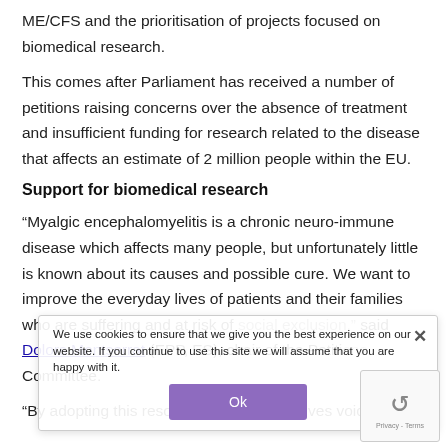ME/CFS and the prioritisation of projects focused on biomedical research.
This comes after Parliament has received a number of petitions raising concerns over the absence of treatment and insufficient funding for research related to the disease that affects an estimate of 2 million people within the EU.
Support for biomedical research
“Myalgic encephalomyelitis is a chronic neuro-immune disease which affects many people, but unfortunately little is known about its causes and possible cure. We want to improve the everyday lives of patients and their families who are suffering and at risk of social exclusion,” said Dolors Montserrat (EPP, ES), chair of the Petitions Committee.
“By adopting this resolution, Parliament gives voice to
We use cookies to ensure that we give you the best experience on our website. If you continue to use this site we will assume that you are happy with it.
Ok